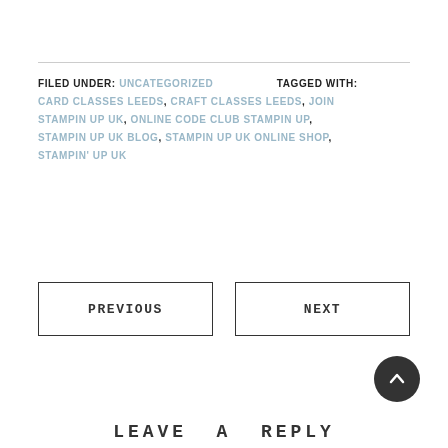FILED UNDER: UNCATEGORIZED   TAGGED WITH: CARD CLASSES LEEDS, CRAFT CLASSES LEEDS, JOIN STAMPIN UP UK, ONLINE CODE CLUB STAMPIN UP, STAMPIN UP UK BLOG, STAMPIN UP UK ONLINE SHOP, STAMPIN' UP UK
PREVIOUS
NEXT
LEAVE A REPLY